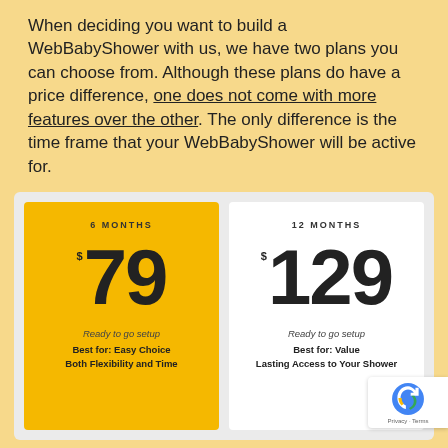When deciding you want to build a WebBabyShower with us, we have two plans you can choose from. Although these plans do have a price difference, one does not come with more features over the other. The only difference is the time frame that your WebBabyShower will be active for.
[Figure (infographic): Two pricing plan cards side by side. Left card (yellow): 6 MONTHS, $79, Ready to go setup, Best for: Easy Choice, Both Flexibility and Time. Right card (white): 12 MONTHS, $129, Ready to go setup, Best for: Value, Lasting Access to Your Shower.]